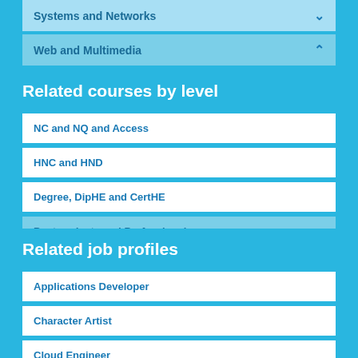Systems and Networks
Web and Multimedia
Related courses by level
NC and NQ and Access
HNC and HND
Degree, DipHE and CertHE
Postgraduate and Professional
Other Qualifications
Related job profiles
Applications Developer
Character Artist
Cloud Engineer